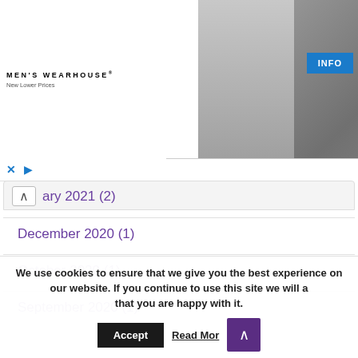[Figure (screenshot): Men's Wearhouse advertisement banner with couple in formal wear and man in suit, with INFO button]
ary 2021 (2)
December 2020 (1)
October 2020 (1)
September 2020 (1)
August 2020 (2)
June 2020 (2)
We use cookies to ensure that we give you the best experience on our website. If you continue to use this site we will assume that you are happy with it.